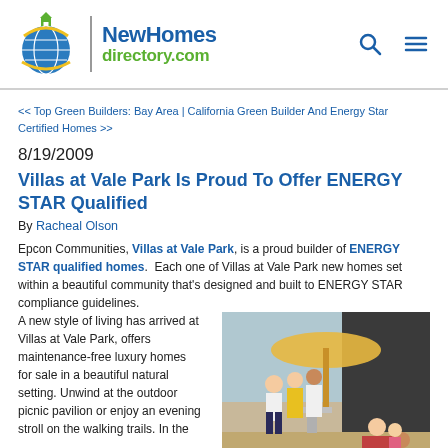NewHomesdirectory.com
<< Top Green Builders: Bay Area | California Green Builder And Energy Star Certified Homes >>
8/19/2009
Villas at Vale Park Is Proud To Offer ENERGY STAR Qualified
By Racheal Olson
Epcon Communities, Villas at Vale Park, is a proud builder of ENERGY STAR qualified homes.  Each one of Villas at Vale Park new homes set within a beautiful community that’s designed and built to ENERGY STAR compliance guidelines.
A new style of living has arrived at Villas at Vale Park, offers maintenance-free luxury homes for sale in a beautiful natural setting. Unwind at the outdoor picnic pavilion or enjoy an evening stroll on the walking trails. In the
[Figure (photo): People socializing at an outdoor pool area with umbrella and lounge chairs]